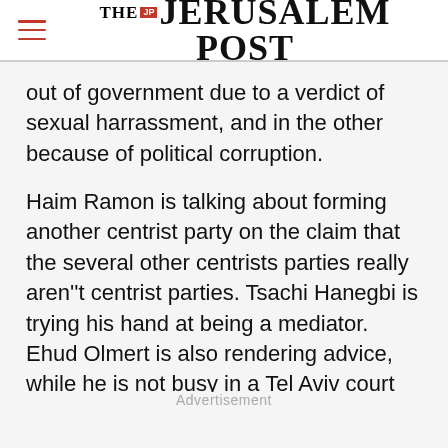THE JERUSALEM POST
out of government due to a verdict of sexual harrassment, and in the other because of political corruption.
Haim Ramon is talking about forming another centrist party on the claim that the several other centrists parties really aren''t centrist parties. Tsachi Hanegbi is trying his hand at being a mediator. Ehud Olmert is also rendering advice, while he is not busy in a Tel Aviv court that is
Advertisement